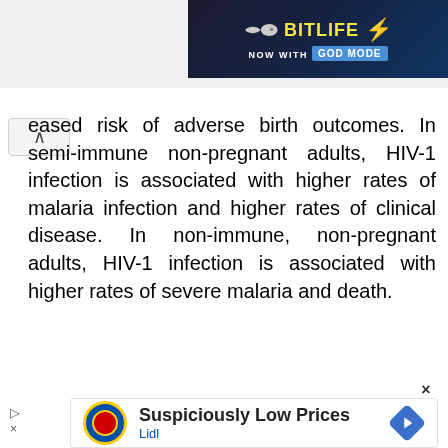[Figure (screenshot): BitLife app advertisement banner - 'NOW WITH GOD MODE' on dark blue background with yellow logo text]
eased risk of adverse birth outcomes. In semi-immune non-pregnant adults, HIV-1 infection is associated with higher rates of malaria infection and higher rates of clinical disease. In non-immune, non-pregnant adults, HIV-1 infection is associated with higher rates of severe malaria and death.
[Figure (screenshot): Lidl advertisement - 'Suspiciously Low Prices' with Lidl logo and navigation arrow icon]